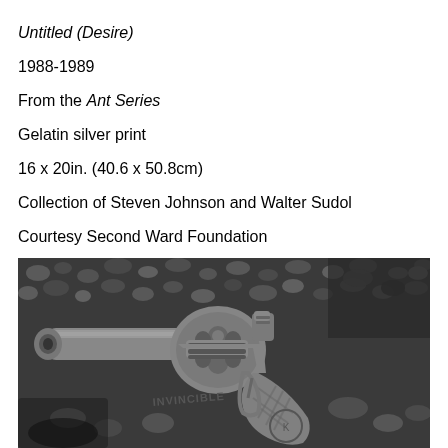Untitled (Desire)
1988-1989
From the Ant Series
Gelatin silver print
16 x 20in. (40.6 x 50.8cm)
Collection of Steven Johnson and Walter Sudol
Courtesy Second Ward Foundation
[Figure (photo): Black and white close-up photograph of a small revolver pistol labeled 'INVINCIBLE' lying on rocky gravel ground, shot from above at an angle.]